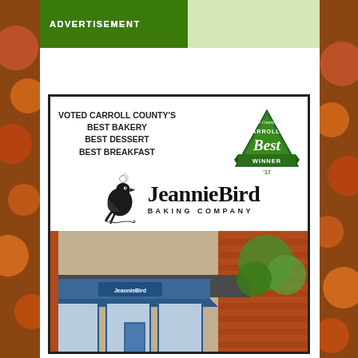ADVERTISEMENT
[Figure (illustration): JeannieBird Baking Company advertisement featuring the bakery logo with a bird illustration, Carroll County Times Carroll's Best Winner '17 badge, voted Carroll County's Best Bakery, Best Dessert, Best Breakfast text, and a photograph of the bakery storefront]